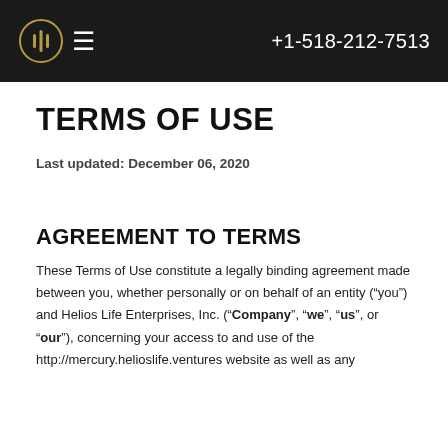+1-518-212-7513
TERMS OF USE
Last updated: December 06, 2020
AGREEMENT TO TERMS
These Terms of Use constitute a legally binding agreement made between you, whether personally or on behalf of an entity (“you”) and Helios Life Enterprises, Inc. (“Company”, “we”, “us”, or “our”), concerning your access to and use of the http://mercury.helioslife.ventures website as well as any